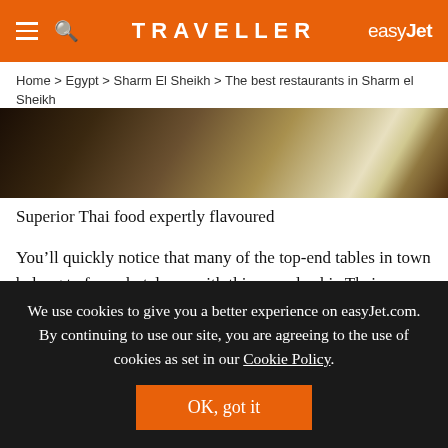TRAVELLER | easyJet
Home > Egypt > Sharm El Sheikh > The best restaurants in Sharm el Sheikh
[Figure (photo): Close-up photo of a plate or bowl, dark and golden tones, shallow depth of field]
Superior Thai food expertly flavoured
You’ll quickly notice that many of the top-end tables in town belong to fancy hotels; as with this upscale chic Thai restaurant at the Park Regency Sharm El Sheikh.
We use cookies to give you a better experience on easyJet.com. By continuing to use our site, you are agreeing to the use of cookies as set in our Cookie Policy.
OK, got it